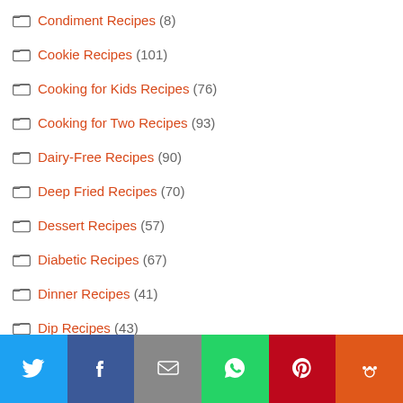Condiment Recipes (8)
Cookie Recipes (101)
Cooking for Kids Recipes (76)
Cooking for Two Recipes (93)
Dairy-Free Recipes (90)
Deep Fried Recipes (70)
Dessert Recipes (57)
Diabetic Recipes (67)
Dinner Recipes (41)
Dip Recipes (43)
Drink Recipes (8)
Duck Recipes (45)
Easter Recipes (11)